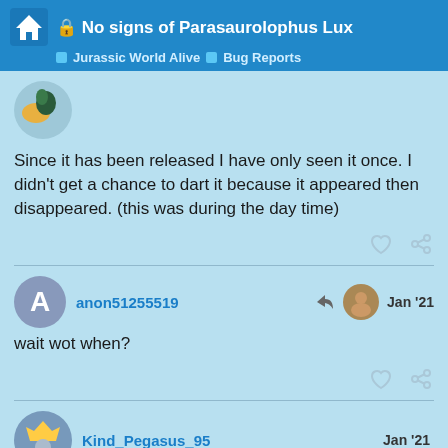No signs of Parasaurolophus Lux — Jurassic World Alive > Bug Reports
Since it has been released I have only seen it once. I didn't get a chance to dart it because it appeared then disappeared. (this was during the day time)
anon51255519 — Jan '21
wait wot when?
Kind_Pegasus_95 — Jan '21
10 / 20